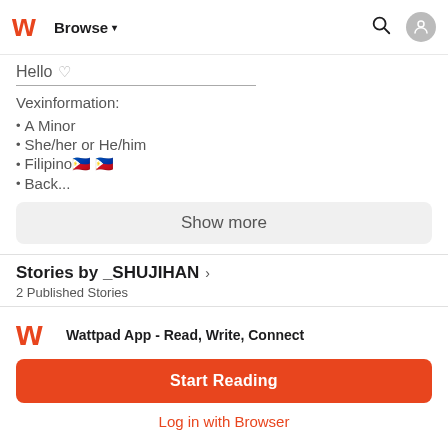Browse
Hello ♡
Vexinformation:
• A Minor
• She/her or He/him
• Filipino🇵🇭 🇵🇭
• Back...
Show more
Stories by _SHUJIHAN >
2 Published Stories
Wattpad App - Read, Write, Connect
Start Reading
Log in with Browser